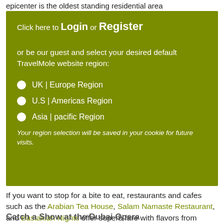epicenter is the oldest standing residential area
Click here to Login or Register
or be our guest and select your desired default TravelMole website region:
UK | Europe Region
U.S | Americas Region
Asia | pacific Region
Your region selection will be saved in your cookie for future visits.
If you want to stop for a bite to eat, restaurants and cafes such as the Arabian Tea House, Salam Namaste Restaurant, and Bastakiah Nights offer superb fare with flavors from Arabia and India.
Catch a Show at the Dubai Opera